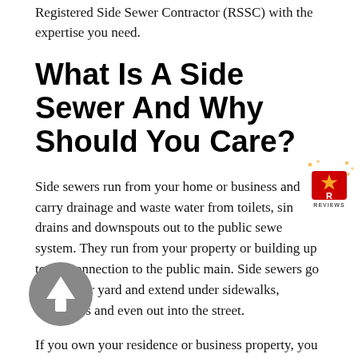Registered Side Sewer Contractor (RSSC) with the expertise you need.
What Is A Side Sewer And Why Should You Care?
Side sewers run from your home or business and carry drainage and waste water from toilets, sinks, drains and downspouts out to the public sewer system. They run from your property or building up to the connection to the public main. Side sewers go under your yard and extend under sidewalks, driveways and even out into the street.
If you own your residence or business property, you are responsible for repairs. If you rent, your landlord should foot the bill for repairs. Side sewer repairs can be extensive if the damaged area
[Figure (logo): Yelp Reviews star badge icon in top right corner]
[Figure (illustration): Back to top arrow button (grey circle with upward arrow) in bottom left]